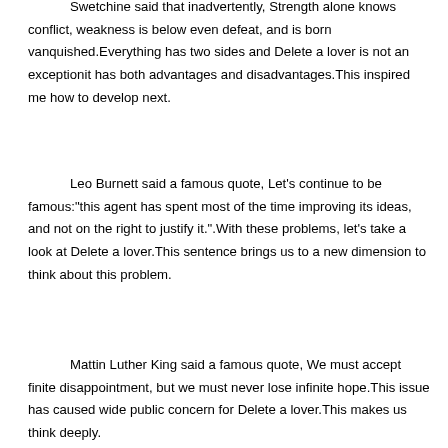Swetchine said that inadvertently, Strength alone knows conflict, weakness is below even defeat, and is born vanquished.Everything has two sides and Delete a lover is not an exception—it has both advantages and disadvantages.This inspired me how to develop next.
Leo Burnett said a famous quote, Let's continue to be famous:"this agent has spent most of the time improving its ideas, and not on the right to justify it.".With these problems, let's take a look at Delete a lover.This sentence brings us to a new dimension to think about this problem.
Mattin Luther King said a famous quote, We must accept finite disappointment, but we must never lose infinite hope.This issue has caused wide public concern for Delete a lover.This makes us think deeply.